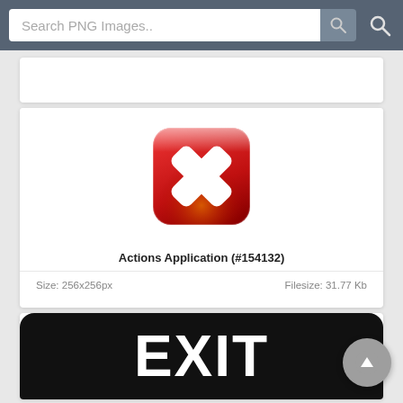Search PNG Images..
[Figure (screenshot): Partial white card at top, cropped]
[Figure (screenshot): PNG image listing card showing a red X (Actions Application) icon. Title: Actions Application (#154132). Size: 256x256px. Filesize: 31.77 Kb]
Actions Application (#154132)
Size: 256x256px
Filesize: 31.77 Kb
[Figure (screenshot): Partial card at bottom showing EXIT text on black rounded rectangle background, partially cropped]